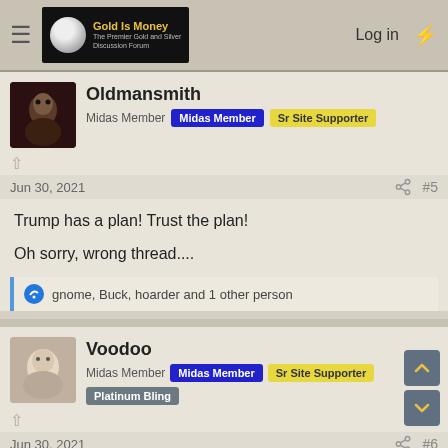Gold Is Money - The Premier Gold and Silver Discussion Forum | Log in
Oldmansmith
Midas Member  Midas Member  Sr Site Supporter
Jun 30, 2021  #5
Trump has a plan! Trust the plan!

Oh sorry, wrong thread....
gnome, Buck, hoarder and 1 other person
Voodoo
Midas Member  Midas Member  Sr Site Supporter  Platinum Bling
Jun 30, 2021  #6
It's not done, just on hold for a bit along with all the other plans. AMC is still the main target and until that goes to the MOON or